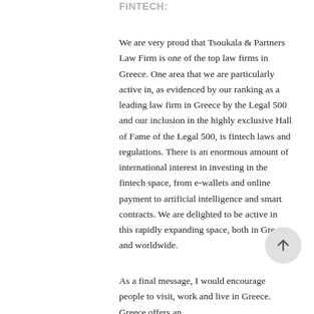FINTECH:
We are very proud that Tsoukala & Partners Law Firm is one of the top law firms in Greece. One area that we are particularly active in, as evidenced by our ranking as a leading law firm in Greece by the Legal 500 and our inclusion in the highly exclusive Hall of Fame of the Legal 500, is fintech laws and regulations. There is an enormous amount of international interest in investing in the fintech space, from e-wallets and online payment to artificial intelligence and smart contracts. We are delighted to be active in this rapidly expanding space, both in Greece and worldwide.
As a final message, I would encourage people to visit, work and live in Greece. Greece offers an